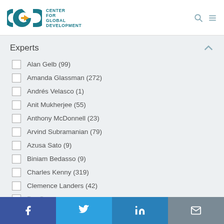[Figure (logo): Center for Global Development (CGD) logo with teal and yellow CGD letters and organization name]
Experts
Alan Gelb (99)
Amanda Glassman (272)
Andrés Velasco (1)
Anit Mukherjee (55)
Anthony McDonnell (23)
Arvind Subramanian (79)
Azusa Sato (9)
Biniam Bedasso (9)
Charles Kenny (319)
Clemence Landers (42)
Facebook | Twitter | LinkedIn | Email